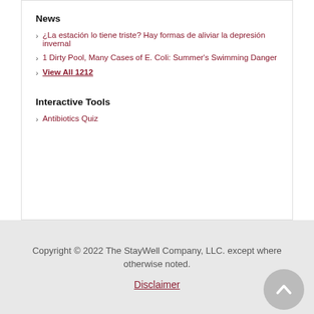News
¿La estación lo tiene triste? Hay formas de aliviar la depresión invernal
1 Dirty Pool, Many Cases of E. Coli: Summer's Swimming Danger
View All 1212
Interactive Tools
Antibiotics Quiz
Copyright © 2022 The StayWell Company, LLC. except where otherwise noted.
Disclaimer